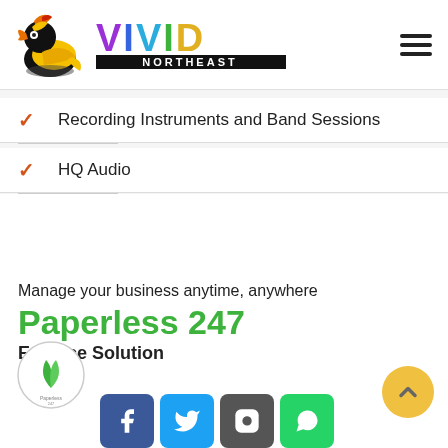[Figure (logo): Vivid Northeast logo with colorful bird and rainbow VIVID text with NORTHEAST on black bar]
Recording Instruments and Band Sessions
HQ Audio
Manage your business anytime, anywhere
Paperless 247
E-Office Solution
[Figure (logo): Paperless247 green leaf circular logo]
[Figure (infographic): Social media icons: Facebook, Twitter, Instagram, WhatsApp]